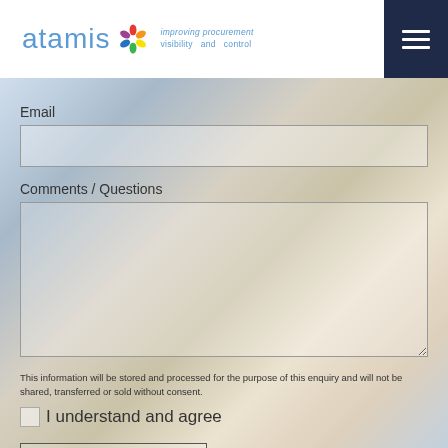[Figure (logo): Atamis logo with colorful snowflake icon and tagline 'improving procurement visibility and control']
[Figure (photo): Background photo of a smiling woman with reddish-blonde hair wearing a grey cardigan, used as background behind the contact form]
Email
Comments / Questions
This information will be stored and processed for the purpose of this enquiry and will not be shared, transferred or sold without consent.
I understand and agree
SUBMIT